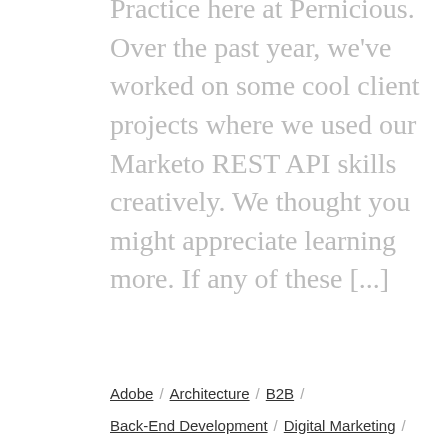Practice here at Pernicious. Over the past year, we've worked on some cool client projects where we used our Marketo REST API skills creatively. We thought you might appreciate learning more. If any of these [...]
Adobe / Architecture / B2B / Back-End Development / Digital Marketing / Digital Transformation / Marketing Automation / Marketo Engage / Site Architecture / Technical
[Figure (photo): Dark blurred photo of a person holding a smartphone with a glowing green-lit screen in the background]